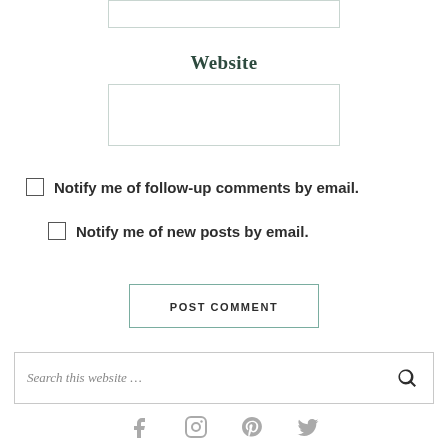[Figure (other): Input box at top (partial, clipped)]
Website
[Figure (other): Website text input field box]
Notify me of follow-up comments by email.
Notify me of new posts by email.
POST COMMENT
Search this website …
[Figure (other): Social media icons: Facebook, Instagram, Pinterest, Twitter]